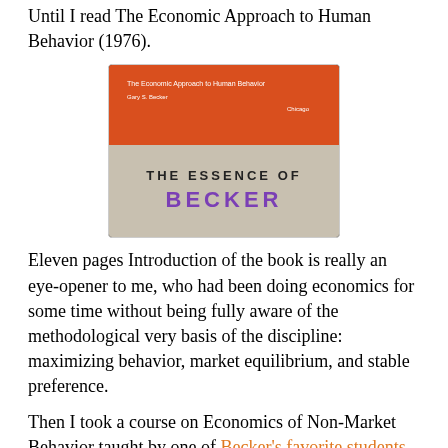Until I read The Economic Approach to Human Behavior (1976).
[Figure (photo): Photo of two stacked books showing their spines: the top one is an orange book titled 'The Economic Approach to Human Behavior' by Gary S. Becker, Chicago; the bottom book is titled 'THE ESSENCE OF BECKER' in large bold letters.]
Eleven pages Introduction of the book is really an eye-opener to me, who had been doing economics for some time without being fully aware of the methodological very basis of the discipline: maximizing behavior, market equilibrium, and stable preference.
Then I took a course on Economics of Non-Market Behavior taught by one of Becker's favorite students, Larry Iannaccone. There, I read lots of Becker's work and learned to develop intuitions to see any human behavior or social patterns using economic approach i.e price theory. For a